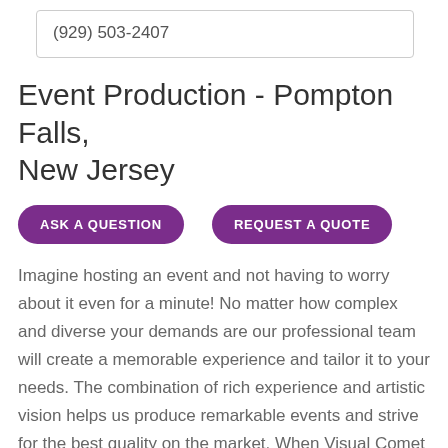(929) 503-2407
Event Production - Pompton Falls, New Jersey
ASK A QUESTION
REQUEST A QUOTE
Imagine hosting an event and not having to worry about it even for a minute! No matter how complex and diverse your demands are our professional team will create a memorable experience and tailor it to your needs. The combination of rich experience and artistic vision helps us produce remarkable events and strive for the best quality on the market. When Visual Comet team creates an event you can be sure